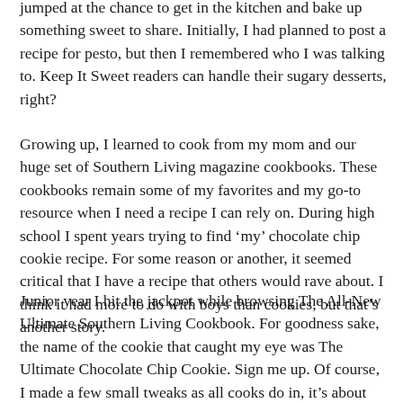jumped at the chance to get in the kitchen and bake up something sweet to share. Initially, I had planned to post a recipe for pesto, but then I remembered who I was talking to. Keep It Sweet readers can handle their sugary desserts, right?
Growing up, I learned to cook from my mom and our huge set of Southern Living magazine cookbooks. These cookbooks remain some of my favorites and my go-to resource when I need a recipe I can rely on. During high school I spent years trying to find ‘my’ chocolate chip cookie recipe. For some reason or another, it seemed critical that I have a recipe that others would rave about. I think it had more to do with boys than cookies, but that’s another story.
Junior year I hit the jackpot while browsing The All-New Ultimate Southern Living Cookbook. For goodness sake, the name of the cookie that caught my eye was The Ultimate Chocolate Chip Cookie. Sign me up. Of course, I made a few small tweaks as all cooks do in, it’s about the feeling...